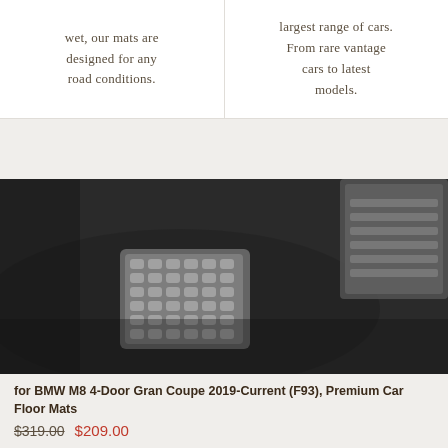wet, our mats are designed for any road conditions.
largest range of cars. From rare vantage cars to latest models.
[Figure (photo): Close-up black and white photo of car floor mats showing textured surface with pedal area visible]
for BMW M8 4-Door Gran Coupe 2019-Current (F93), Premium Car Floor Mats
$319.00  $209.00
Add to cart